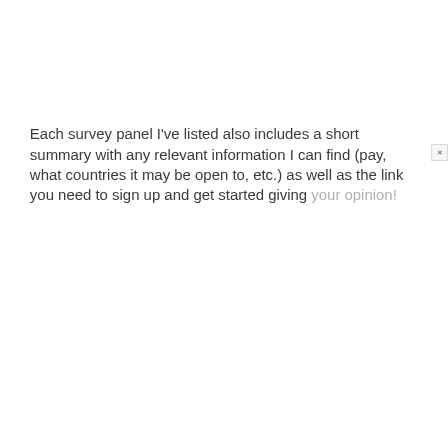Each survey panel I've listed also includes a short summary with any relevant information I can find (pay, what countries it may be open to, etc.) as well as the link you need to sign up and get started giving your opinion!